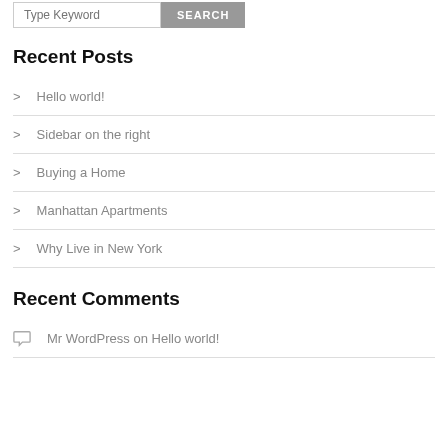Recent Posts
Hello world!
Sidebar on the right
Buying a Home
Manhattan Apartments
Why Live in New York
Recent Comments
Mr WordPress on Hello world!